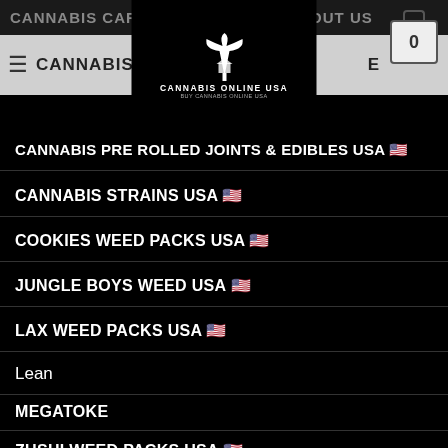CANNABIS CARTS AND ... ABOUT US
[Figure (logo): Cannabis Online USA logo with cannabis leaf icon on black background, text 'CANNABIS ONLINE USA - BUY CANNABIS ONLINE USA']
CANNABIS PRE ROLLED JOINTS & EDIBLES USA 🇺🇸
CANNABIS STRAINS USA 🇺🇸
COOKIES WEED PACKS USA 🇺🇸
JUNGLE BOYS WEED USA 🇺🇸
LAX WEED PACKS USA 🇺🇸
Lean
MEGATOKE
ZUSHI WEED PACKS USA 🇺🇸
CONTACT US